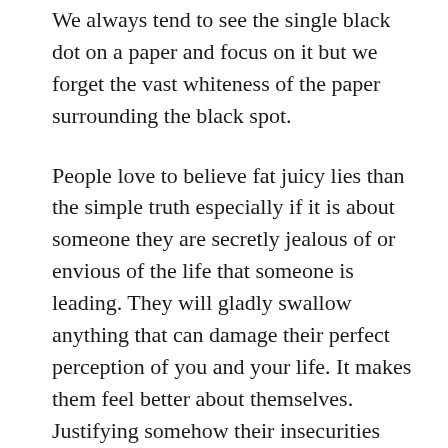We always tend to see the single black dot on a paper and focus on it but we forget the vast whiteness of the paper surrounding the black spot.
People love to believe fat juicy lies than the simple truth especially if it is about someone they are secretly jealous of or envious of the life that someone is leading. They will gladly swallow anything that can damage their perfect perception of you and your life. It makes them feel better about themselves. Justifying somehow their insecurities and personal issues. Often than not those sort of people will happily feed the fire till there is nothing left anymore of whatever the truth might have been. I have fallen victim of this sort of gossip so many